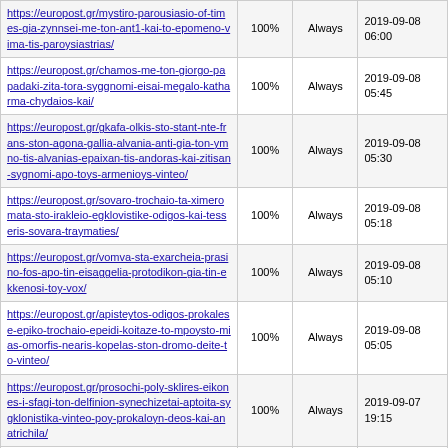| URL | Priority | Change Freq | Last Modified |
| --- | --- | --- | --- |
| https://europost.gr/mystiro-parousiasio-of-times-gia-zynnsei-me-ton-ant1-kai-to-epomeno-vima-tis-paroysiastrias/ | 100% | Always | 2019-09-08 06:00 |
| https://europost.gr/chamos-me-ton-giorgo-papadaki-zita-tora-syggnomi-eisai-megalo-katharma-chydaios-kai/ | 100% | Always | 2019-09-08 05:45 |
| https://europost.gr/gkafa-olkis-sto-stant-nte-frans-ston-agona-gallia-alvania-anti-gia-ton-ymno-tis-alvanias-epaixan-tis-andoras-kai-zitisan-sygnomi-apo-toys-armenioys-vinteo/ | 100% | Always | 2019-09-08 05:30 |
| https://europost.gr/sovaro-trochaio-ta-ximeromata-sto-irakleio-egklovistike-odigos-kai-tesseris-sovara-traymaties/ | 100% | Always | 2019-09-08 05:18 |
| https://europost.gr/vomva-sta-exarcheia-prasino-fos-apo-tin-eisaggelia-protodikon-gia-tin-ekkenosi-toy-vox/ | 100% | Always | 2019-09-08 05:10 |
| https://europost.gr/apisteytos-odigos-prokalese-epiko-trochaio-epeidi-koitaze-to-mpoysto-mias-omorfis-nearis-kopelas-ston-dromo-deite-to-vinteo/ | 100% | Always | 2019-09-08 05:05 |
| https://europost.gr/prosochi-poly-sklires-eikones-i-sfagi-ton-delfinion-synechizetai-aptoita-sygklonistika-vinteo-poy-prokaloyn-deos-kai-anatrichila/ | 100% | Always | 2019-09-07 19:15 |
| https://europost.gr/nea-dimoskopisi-apo-tin-marc-chaotiki-i-diafora-nd-syriza-dyo-mines-meta-tis-ekloges-ta-entyposiaka-eyrimata/ | 100% | Always | 2019-09-07 18:52 |
| https://europost.gr/deite-apo-to-europost-gr-se-zontani-syndesi-tin-omilia-toy-kyriakoy-mitsotaki-sti-deth/ | 100% | Always | 2019-09-07 17:36 |
| https://europost.gr/o-vaggelis-marinakis-sto-vellideio-gia-tin-omilia-toy-prothypoyrgoy-kyriakoy-mitsotaki/ | 100% | Always | 2019-09-07 16:55 |
| https://europost.gr/deite-se-ligo-apo-to- | 100% | Always |  |